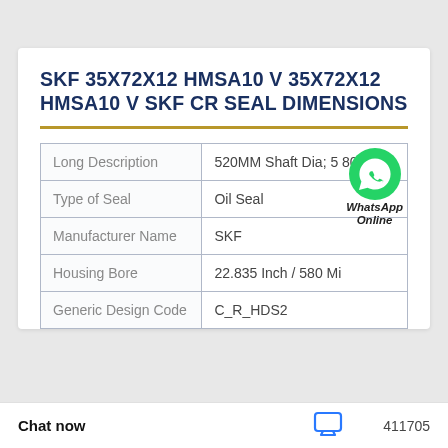SKF 35X72X12 HMSA10 V 35X72X12 HMSA10 V SKF CR SEAL DIMENSIONS
| Field | Value |
| --- | --- |
| Long Description | 520MM Shaft Dia; 5 80 |
| Type of Seal | Oil Seal |
| Manufacturer Name | SKF |
| Housing Bore | 22.835 Inch / 580 Mi |
| Generic Design Code | C_R_HDS2 |
Chat now
411705